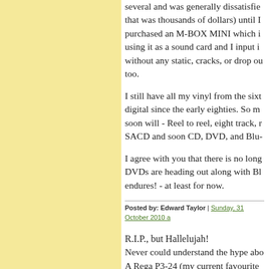several and was generally dissatisfied that was thousands of dollars) until I purchased an M-BOX MINI which i using it as a sound card and I input i without any static, cracks, or drop ou too.
I still have all my vinyl from the sixt digital since the early eighties. So m soon will - Reel to reel, eight track, r SACD and soon CD, DVD, and Blu-
I agree with you that there is no long DVDs are heading out along with Bl endures! - at least for now.
Posted by: Edward Taylor | Sunday, 31 October 2010 a
R.I.P., but Hallelujah! Never could understand the hype abo A Rega P3-24 (my current favourite